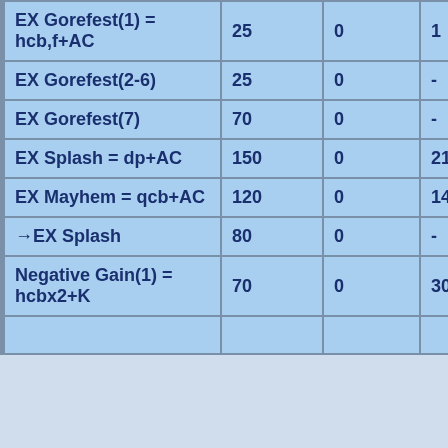| EX Gorefest(1) = hcb,f+AC | 25 | 0 | 1 |
| EX Gorefest(2-6) | 25 | 0 | - |
| EX Gorefest(7) | 70 | 0 | - |
| EX Splash = dp+AC | 150 | 0 | 21 |
| EX Mayhem = qcb+AC | 120 | 0 | 14 |
| →EX Splash | 80 | 0 | - |
| Negative Gain(1) = hcbx2+K | 70 | 0 | 30(1) |